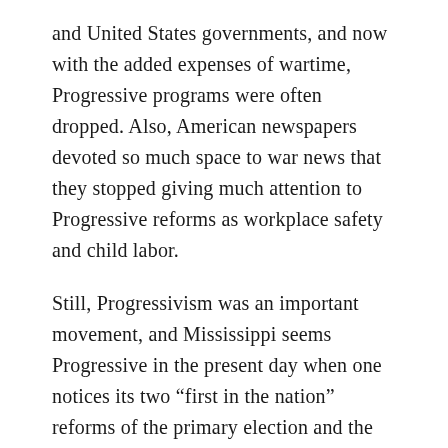and United States governments, and now with the added expenses of wartime, Progressive programs were often dropped. Also, American newspapers devoted so much space to war news that they stopped giving much attention to Progressive reforms as workplace safety and child labor.
Still, Progressivism was an important movement, and Mississippi seems Progressive in the present day when one notices its two “first in the nation” reforms of the primary election and the Eighteenth (Prohibition) Amendment. Yet in some other ways, Mississippi does not seem so Progressive.
Woman suffrage and race relations